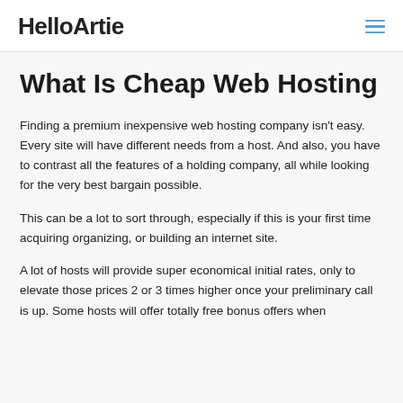HelloArtie
What Is Cheap Web Hosting
Finding a premium inexpensive web hosting company isn't easy. Every site will have different needs from a host. And also, you have to contrast all the features of a holding company, all while looking for the very best bargain possible.
This can be a lot to sort through, especially if this is your first time acquiring organizing, or building an internet site.
A lot of hosts will provide super economical initial rates, only to elevate those prices 2 or 3 times higher once your preliminary call is up. Some hosts will offer totally free bonus offers when